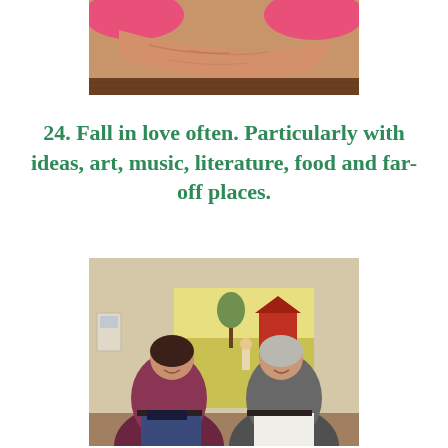[Figure (photo): Close-up photo of an elderly person with crossed arms resting on a table, wearing a pink top]
24. Fall in love often. Particularly with ideas, art, music, literature, food and far-off places.
[Figure (photo): Two women smiling and sitting in front of a painting of a red barn with a figure, one wearing a maroon top and jeans, the other wearing a grey top and white pants]